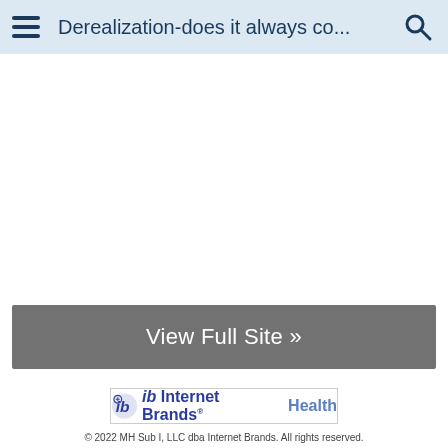Derealization-does it always co...
View Full Site »
[Figure (logo): Internet Brands Health logo with gear-and-b icon, text 'ib Internet Brands® Health']
© 2022 MH Sub I, LLC dba Internet Brands. All rights reserved.